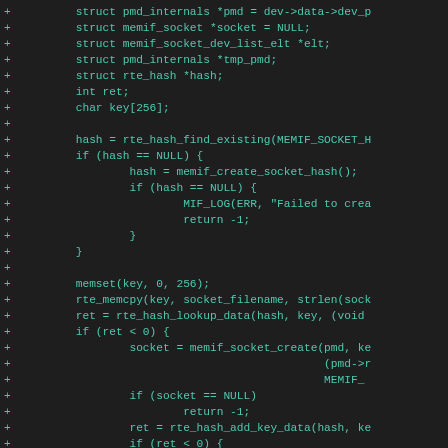[Figure (other): Code diff snippet showing C source code additions (lines starting with '+') for a function involving pmd_internals, memif_socket, rte_hash, memset, rte_memcpy, rte_hash_lookup_data, memif_socket_create, rte_hash_add_key_data, and related logic.]